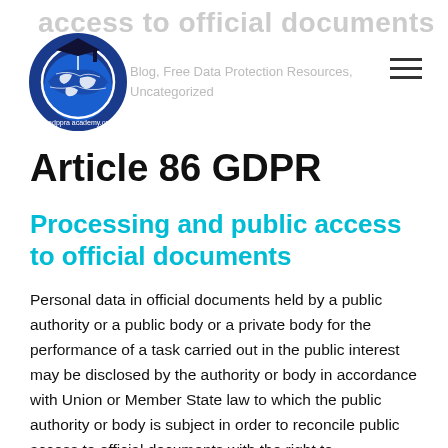access to official documents
[Figure (logo): Circular blue globe logo with graduation cap and text gadppra academy.org]
Blog, Free Data Protection Resources, Uncategorized
Article 86 GDPR
Processing and public access to official documents
Personal data in official documents held by a public authority or a public body or a private body for the performance of a task carried out in the public interest may be disclosed by the authority or body in accordance with Union or Member State law to which the public authority or body is subject in order to reconcile public access to official documents with the right to